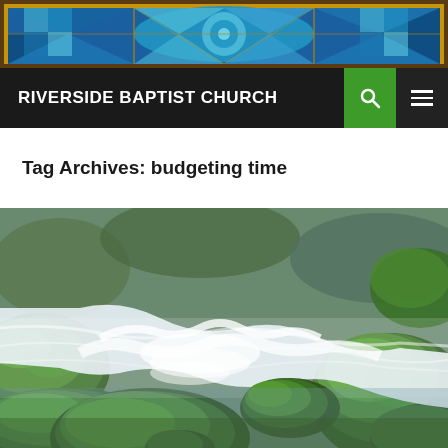[Figure (photo): Stained glass decorative header image with blue and gold geometric patterns]
RIVERSIDE BAPTIST CHURCH
Tag Archives: budgeting time
[Figure (photo): Nature photo of a fast-flowing stream with mossy green rocks and white water rapids]